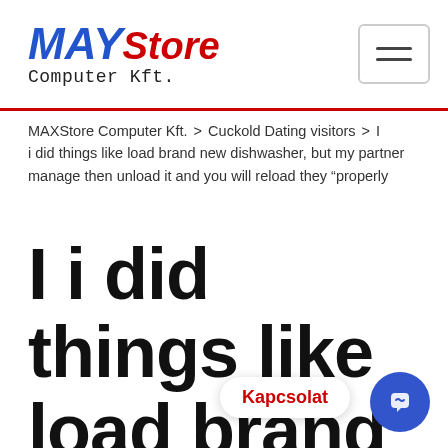MAXStore Computer Kft.
MAXStore Computer Kft. > Cuckold Dating visitors > I i did things like load brand new dishwasher, but my partner manage then unload it and you will reload they “properly
I i did things like load brand new dishwasher, but my partne manage then